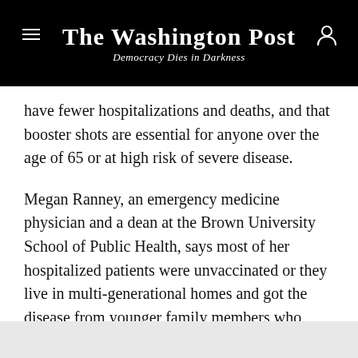The Washington Post
Democracy Dies in Darkness
have fewer hospitalizations and deaths, and that booster shots are essential for anyone over the age of 65 or at high risk of severe disease.
Megan Ranney, an emergency medicine physician and a dean at the Brown University School of Public Health, says most of her hospitalized patients were unvaccinated or they live in multi-generational homes and got the disease from younger family members who skipped the shots. She sees no problem with the idea of lifting mask mandates when the stress on hospitals has eased.